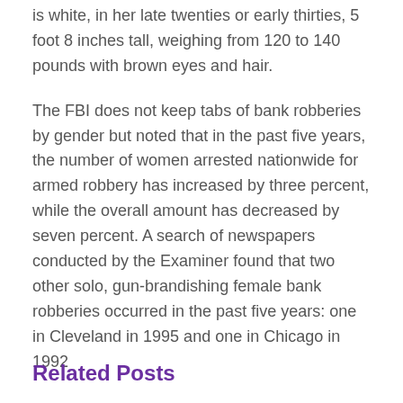is white, in her late twenties or early thirties, 5 foot 8 inches tall, weighing from 120 to 140 pounds with brown eyes and hair.
The FBI does not keep tabs of bank robberies by gender but noted that in the past five years, the number of women arrested nationwide for armed robbery has increased by three percent, while the overall amount has decreased by seven percent. A search of newspapers conducted by the Examiner found that two other solo, gun-brandishing female bank robberies occurred in the past five years: one in Cleveland in 1995 and one in Chicago in 1992
Related Posts